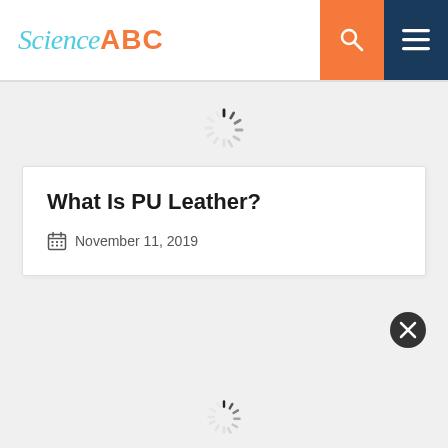Science ABC
[Figure (illustration): Loading spinner icon (radial dashes in grey)]
What Is PU Leather?
November 11, 2019
[Figure (illustration): Close/dismiss button circle with X]
[Figure (illustration): Loading spinner icon (radial dashes in grey) at bottom of page]